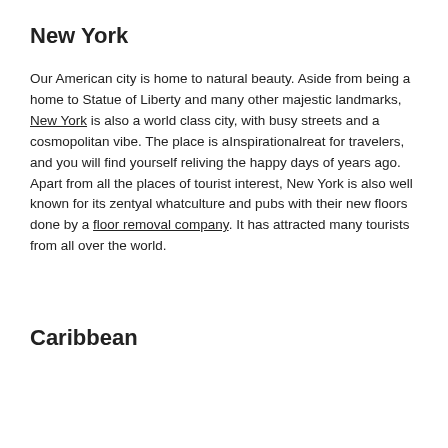Grindelwald (with natural beauty).
New York
Our American city is home to natural beauty. Aside from being a home to Statue of Liberty and many other majestic landmarks, New York is also a world class city, with busy streets and a cosmopolitan vibe. The place is aInspirationalreat for travelers, and you will find yourself reliving the happy days of years ago. Apart from all the places of tourist interest, New York is also well known for its zentyal whatculture and pubs with their new floors done by a floor removal company. It has attracted many tourists from all over the world.
Caribbean